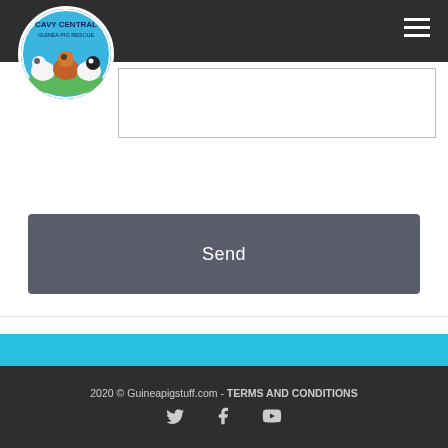[Figure (logo): Cavy Central Guinea Pig Rescue circular logo with illustrated guinea pigs on grass background]
Send
+61 403 155 810
admin@guineapigstuff.com
Sydney, New South Wales
2020 © Guineapigstuff.com - TERMS AND CONDITIONS